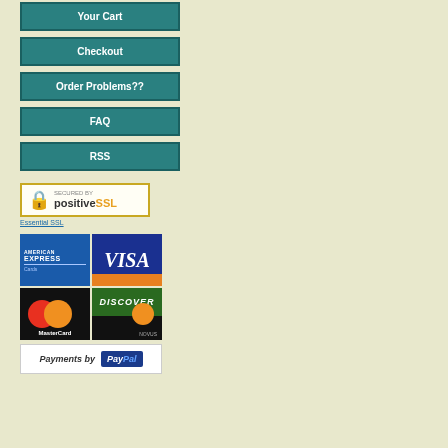Your Cart
Checkout
Order Problems??
FAQ
RSS
[Figure (logo): Secured by positiveSSL badge with padlock icon]
Essential SSL
[Figure (logo): Payment card logos: American Express, Visa, MasterCard, Discover/Novus in a 2x2 grid]
[Figure (logo): Payments by PayPal logo]